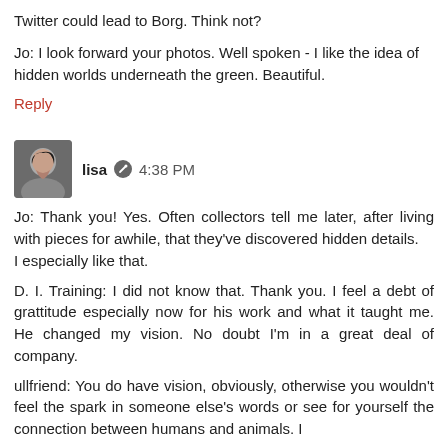Twitter could lead to Borg. Think not?
Jo: I look forward your photos. Well spoken - I like the idea of hidden worlds underneath the green. Beautiful.
Reply
[Figure (photo): Avatar photo of user lisa, a woman with dark hair]
lisa  4:38 PM
Jo: Thank you! Yes. Often collectors tell me later, after living with pieces for awhile, that they've discovered hidden details.
I especially like that.

D. I. Training: I did not know that. Thank you. I feel a debt of grattitude especially now for his work and what it taught me. He changed my vision. No doubt I'm in a great deal of company.

ullfriend: You do have vision, obviously, otherwise you wouldn't feel the spark in someone else's words or see for yourself the connection between humans and animals. I